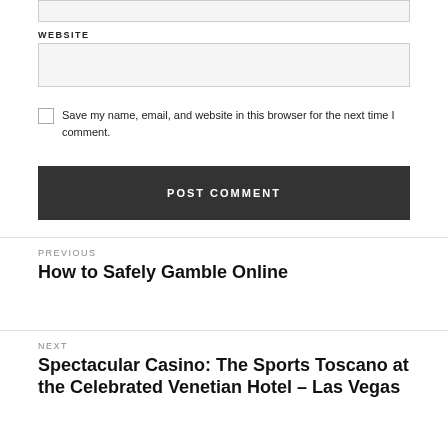WEBSITE
Save my name, email, and website in this browser for the next time I comment.
POST COMMENT
PREVIOUS
How to Safely Gamble Online
NEXT
Spectacular Casino: The Sports Toscano at the Celebrated Venetian Hotel – Las Vegas